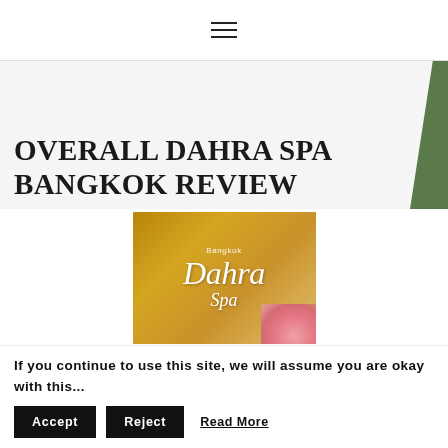≡ (hamburger menu icon)
OVERALL DAHRA SPA BANGKOK REVIEW
[Figure (photo): Dahra Spa Bangkok branded image with golden/amber background, cursive 'Dahra Spa' text in white, 'Bangkok' label at top, and pink flowers in bottom right corner]
If you continue to use this site, we will assume you are okay with this...
Accept
Reject
Read More